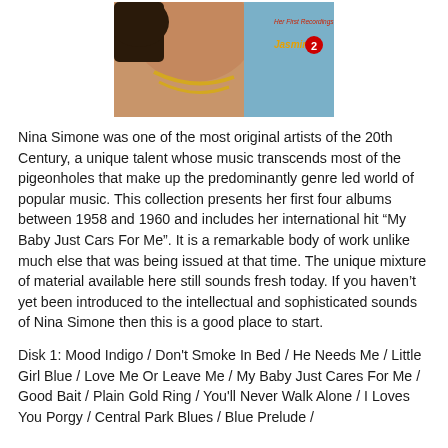[Figure (photo): Album cover for Nina Simone 'Her First Recordings 1958-1963' on Jasmine Records Vol. 2, showing a partial view of Nina Simone with gold jewelry against a light blue background, with red and gold label branding.]
Nina Simone was one of the most original artists of the 20th Century, a unique talent whose music transcends most of the pigeonholes that make up the predominantly genre led world of popular music. This collection presents her first four albums between 1958 and 1960 and includes her international hit “My Baby Just Cars For Me”. It is a remarkable body of work unlike much else that was being issued at that time. The unique mixture of material available here still sounds fresh today. If you haven’t yet been introduced to the intellectual and sophisticated sounds of Nina Simone then this is a good place to start.
Disk 1: Mood Indigo / Don't Smoke In Bed / He Needs Me / Little Girl Blue / Love Me Or Leave Me / My Baby Just Cares For Me / Good Bait / Plain Gold Ring / You'll Never Walk Alone / I Loves You Porgy / Central Park Blues / Blue Prelude /